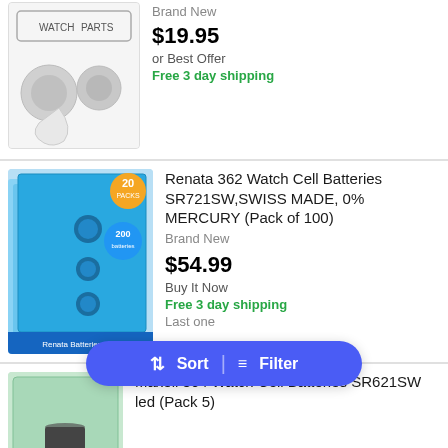Brand New
$19.95
or Best Offer
Free 3 day shipping
[Figure (photo): Watch parts and watch battery cells on white background]
[Figure (photo): Renata 362 watch cell batteries pack, multiple blister packs stacked, with orange 20 pack badge and blue 200 batteries badge]
Renata 362 Watch Cell Batteries SR721SW,SWISS MADE, 0% MERCURY (Pack of 100)
Brand New
$54.99
Buy It Now
Free 3 day shipping
Last one
[Figure (photo): Maxell 364 watch cell batteries SR621SW green packaging with batteries visible]
Maxell 364 Watch Cell Batteries SR621SW led (Pack 5)
$7.99
Buy It Now
Sort | Filter